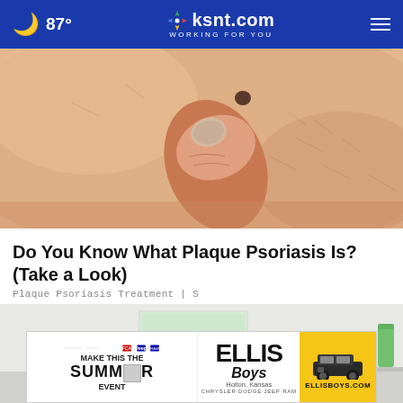87° ksnt.com WORKING FOR YOU
[Figure (photo): Close-up photo of a hand with thumb pressing on skin showing a dark mole or skin lesion, illustrating plaque psoriasis]
Do You Know What Plaque Psoriasis Is? (Take a Look)
Plaque Psoriasis Treatment | S
[Figure (photo): Photo of a bathroom with a worker in blue shirt and overalls working near a sink, with white tiles and shelving visible]
[Figure (infographic): Ellis Boys advertisement banner showing 'MAKE THIS THE SUMMER EVENT' with Ellis Boys Holton Kansas Chrysler-Dodge-Jeep-Ram dealership branding and ELLISBOYS.COM on yellow background with a Jeep illustration]